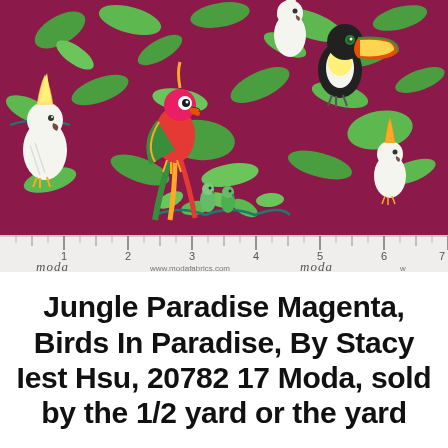[Figure (photo): A tropical fabric swatch on a deep magenta/burgundy background featuring illustrated exotic birds (cockatoos, a macaw, a toucan, small green parrots) among green tropical leaves. A ruler runs along the bottom showing measurements from 1 to 7 inches, with 'moda' cursive logo and www.modafabrics.com printed on the ruler strip.]
Jungle Paradise Magenta, Birds In Paradise, By Stacy Iest Hsu, 20782 17 Moda, sold by the 1/2 yard or the yard